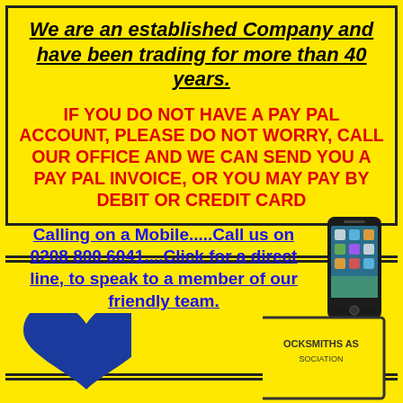We are an established Company and have been trading for more than 40 years.
IF YOU DO NOT HAVE A PAY PAL ACCOUNT, PLEASE DO NOT WORRY, CALL OUR OFFICE AND WE CAN SEND YOU A PAY PAL INVOICE, OR YOU MAY PAY BY DEBIT OR CREDIT CARD
Calling on a Mobile.....Call us on 0208 800 6041....Click for a direct line, to speak to a member of our friendly team.
[Figure (photo): Smartphone photo next to the mobile call text]
[Figure (illustration): Blue heart shape at bottom left]
[Figure (logo): Locksmiths Association logo at bottom right, partial view]